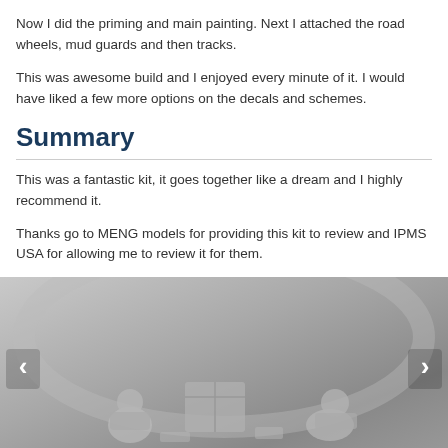Now I did the priming and main painting. Next I attached the road wheels, mud guards and then tracks.
This was awesome build and I enjoyed every minute of it. I would have liked a few more options on the decals and schemes.
Summary
This was a fantastic kit, it goes together like a dream and I highly recommend it.
Thanks go to MENG models for providing this kit to review and IPMS USA for allowing me to review it for them.
[Figure (photo): Grayscale photo of a scale model kit parts/sprues showing military figures and equipment, with left and right navigation arrows overlaid.]